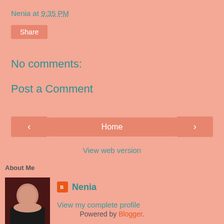Nenia at 9:35 PM
Share
No comments:
Post a Comment
‹  Home  ›
View web version
About Me
Nenia
View my complete profile
Powered by Blogger.